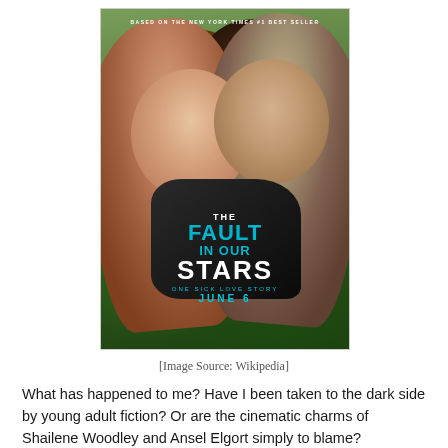[Figure (photo): Movie poster for 'The Fault in Our Stars' showing two young people lying on grass, facing each other. Text on poster: 'BASED ON THE NEW YORK TIMES #1 BEST SELLER', 'THE FAULT IN OUR STARS', 'ONE SICK LOVE STORY', 'JUNE 6']
[Image Source: Wikipedia]
What has happened to me? Have I been taken to the dark side by young adult fiction? Or are the cinematic charms of Shailene Woodley and Ansel Elgort simply to blame?